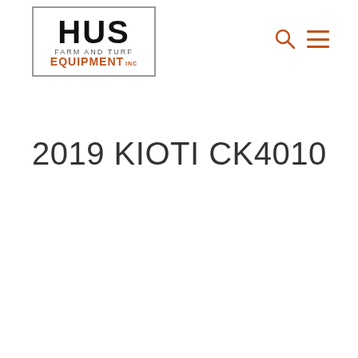[Figure (logo): HUS Farm and Turf Equipment Inc. logo with bold black HUS lettering, gray 'FARM AND TURF' text, and orange 'EQUIPMENT INC' text, enclosed in a bordered box]
[Figure (other): Orange search (magnifying glass) icon and orange hamburger menu icon in the top right navigation area]
2019 KIOTI CK4010